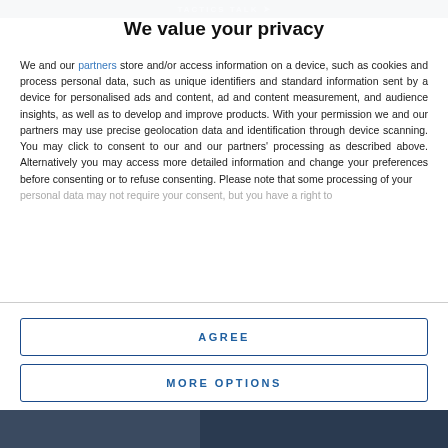TACTICS TALK →
We value your privacy
We and our partners store and/or access information on a device, such as cookies and process personal data, such as unique identifiers and standard information sent by a device for personalised ads and content, ad and content measurement, and audience insights, as well as to develop and improve products. With your permission we and our partners may use precise geolocation data and identification through device scanning. You may click to consent to our and our partners' processing as described above. Alternatively you may access more detailed information and change your preferences before consenting or to refuse consenting. Please note that some processing of your personal data may not require your consent, but you have a right to
AGREE
MORE OPTIONS